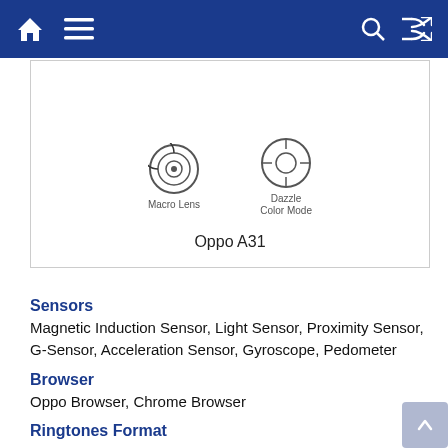Navigation header bar with home, menu, search, and shuffle icons
[Figure (screenshot): Product card showing Oppo A31 with Macro Lens and Dazzle Color Mode icons]
Sensors
Magnetic Induction Sensor, Light Sensor, Proximity Sensor, G-Sensor, Acceleration Sensor, Gyroscope, Pedometer
Browser
Oppo Browser, Chrome Browser
Ringtones Format
MP3, AMR, APE, OGG, FLAC, WAV, MIDI, WMA
Other Features
Number of RAM Channels: 2 Channels 16 Bytes, ROM Technology: HS400, HS200, OTG Storage Format: FAT12, FAT16, FAT32, NTFS, EXFAT, Split Screen, Picture in Picture, Data Backup, Face Unlock,